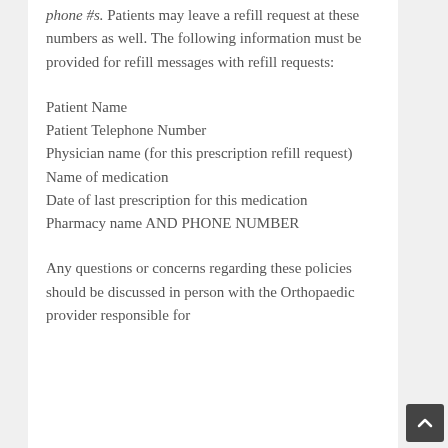phone #s. Patients may leave a refill request at these numbers as well. The following information must be provided for refill messages with refill requests:
Patient Name
Patient Telephone Number
Physician name (for this prescription refill request)
Name of medication
Date of last prescription for this medication
Pharmacy name AND PHONE NUMBER
Any questions or concerns regarding these policies should be discussed in person with the Orthopaedic provider responsible for